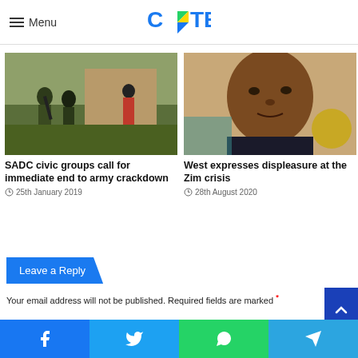Menu | CITE
No formal Mnangagwa reparations... Gukurahundi weary that... For Gukurahundi victims ... distribution of food aid
[Figure (photo): Photo of soldiers in camouflage gear in a grassy area near a building]
SADC civic groups call for immediate end to army crackdown
25th January 2019
[Figure (photo): Close-up photo of a man's face, appears to be a political figure]
West expresses displeasure at the Zim crisis
28th August 2020
Leave a Reply
Your email address will not be published. Required fields are marked *
Facebook | Twitter | WhatsApp | Telegram